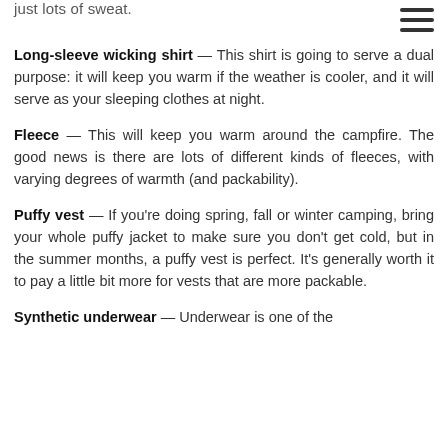just lots of sweat.
Long-sleeve wicking shirt — This shirt is going to serve a dual purpose: it will keep you warm if the weather is cooler, and it will serve as your sleeping clothes at night.
Fleece — This will keep you warm around the campfire. The good news is there are lots of different kinds of fleeces, with varying degrees of warmth (and packability).
Puffy vest — If you're doing spring, fall or winter camping, bring your whole puffy jacket to make sure you don't get cold, but in the summer months, a puffy vest is perfect. It's generally worth it to pay a little bit more for vests that are more packable.
Synthetic underwear — Underwear is one of the